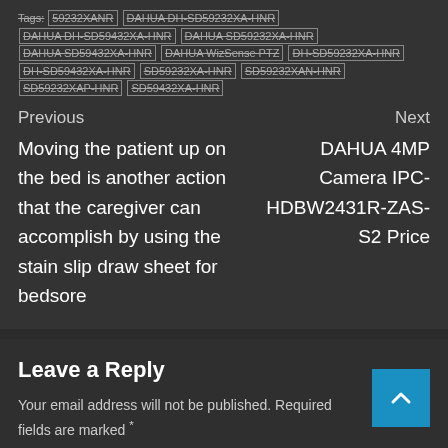Tags: 59232XANR | DAHUA DH-SD59232XA-HNR | DAHUA DH-SD59432XA-HNR | DAHUA SD59232XA-HNR | DAHUA SD59432XA-HNR | DAHUA WizSense PTZ | DH-SD59232XA-HNR | DH-SD59432XA-HNR | SD59232XA-HNR | SD59232XAN-HNR | SD59232XAP-HNR | SD59432XA-HNR
Previous
Next
Moving the patient up on the bed is another action that the caregiver can accomplish by using the stain slip draw sheet for bedsore
DAHUA 4MP Camera IPC-HDBW2431R-ZAS-S2 Price
Leave a Reply
Your email address will not be published. Required fields are marked *
Comment *